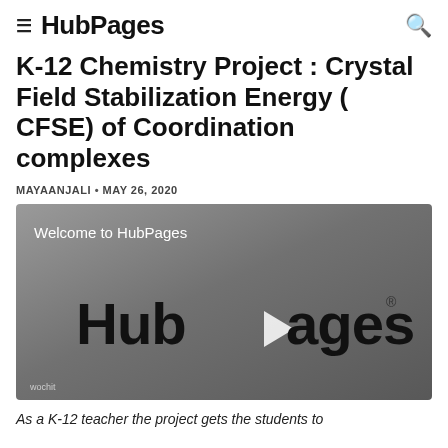HubPages
K-12 Chemistry Project : Crystal Field Stabilization Energy ( CFSE) of Coordination complexes
MAYAANJALI • MAY 26, 2020
[Figure (screenshot): HubPages video player showing 'Welcome to HubPages' with HubPages logo and play button on grey background, wochit watermark at bottom left]
As a K-12 teacher the project gets the students to